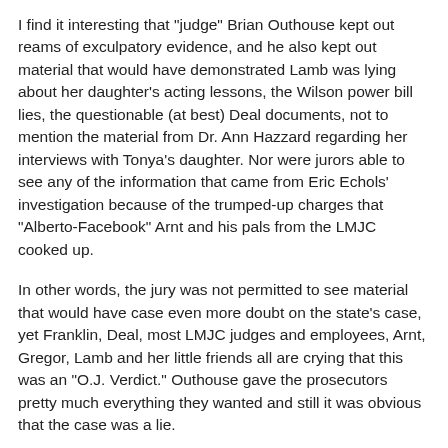I find it interesting that "judge" Brian Outhouse kept out reams of exculpatory evidence, and he also kept out material that would have demonstrated Lamb was lying about her daughter's acting lessons, the Wilson power bill lies, the questionable (at best) Deal documents, not to mention the material from Dr. Ann Hazzard regarding her interviews with Tonya's daughter. Nor were jurors able to see any of the information that came from Eric Echols' investigation because of the trumped-up charges that "Alberto-Facebook" Arnt and his pals from the LMJC cooked up.
In other words, the jury was not permitted to see material that would have case even more doubt on the state's case, yet Franklin, Deal, most LMJC judges and employees, Arnt, Gregor, Lamb and her little friends all are crying that this was an "O.J. Verdict." Outhouse gave the prosecutors pretty much everything they wanted and still it was obvious that the case was a lie.
Following his acquittal, O.J. Simpson's life went downhill and he finally self-destructed and now is in prison, where he likely will remain for the rest of his life. In Tonya Craft's case